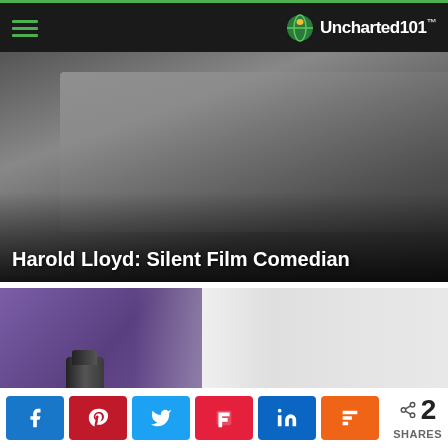Uncharted101
[Figure (photo): Black and white photo of people in a car scene, partially visible. Article card for Harold Lloyd: Silent Film Comedian]
Harold Lloyd: Silent Film Comedian
[Figure (photo): Singha beer can and bottle against purple background. Article card for The Beers Of Thailand]
The Beers Of Thailand
Recent Posts